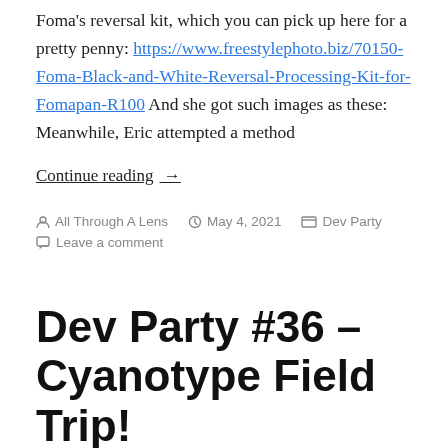Foma's reversal kit, which you can pick up here for a pretty penny: https://www.freestylephoto.biz/70150-Foma-Black-and-White-Reversal-Processing-Kit-for-Fomapan-R100 And she got such images as these: Meanwhile, Eric attempted a method
Continue reading →
By All Through A Lens  May 4, 2021  Dev Party  Leave a comment
Dev Party #36 – Cyanotype Field Trip!